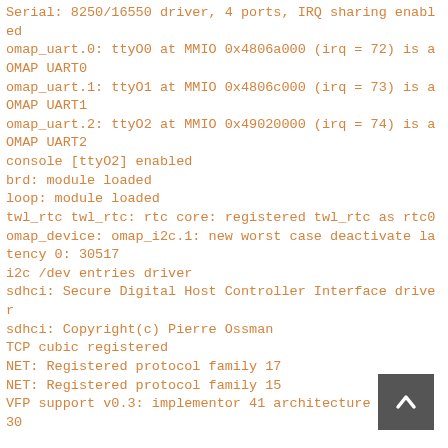Serial: 8250/16550 driver, 4 ports, IRQ sharing enabled
omap_uart.0: ttyO0 at MMIO 0x4806a000 (irq = 72) is a OMAP UART0
omap_uart.1: ttyO1 at MMIO 0x4806c000 (irq = 73) is a OMAP UART1
omap_uart.2: ttyO2 at MMIO 0x49020000 (irq = 74) is a OMAP UART2
console [ttyO2] enabled
brd: module loaded
loop: module loaded
twl_rtc twl_rtc: rtc core: registered twl_rtc as rtc0
omap_device: omap_i2c.1: new worst case deactivate latency 0: 30517
i2c /dev entries driver
sdhci: Secure Digital Host Controller Interface driver
sdhci: Copyright(c) Pierre Ossman
TCP cubic registered
NET: Registered protocol family 17
NET: Registered protocol family 15
VFP support v0.3: implementor 41 architecture 3 part 30